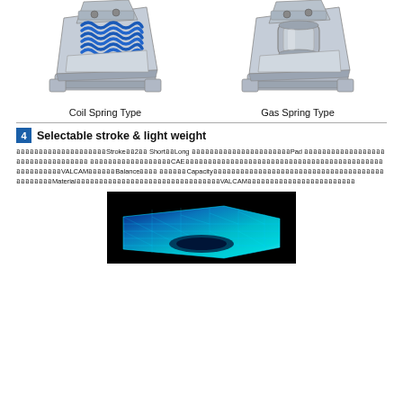[Figure (illustration): Two mechanical assembly diagrams side by side: Coil Spring Type (left, with blue coil spring visible) and Gas Spring Type (right), both showing angled fixture mechanisms in gray metal.]
Coil Spring Type    Gas Spring Type
4  Selectable stroke & light weight
ออออออออออออออออออออStrokeออ2ออ ShortออLong ออออออออออออออออออออออPad ออออออออออออออออออออออออออออออออออ ออออออออออออออออออCAEออออออออออออออออออออออออออออออออออออออออออออออออออออออVALCAMออออออBalanceออออ ออออออCapacityออออออออออออออออออออออออออออออออออออออออออออออMaterialออออออออออออออออออออออออออออออออVALCAMออออออออออออออออออออออออ
[Figure (engineering-diagram): CAE finite element analysis mesh image of a mechanical part shown in blue/cyan gradient on black background, showing structural analysis mesh overlay.]